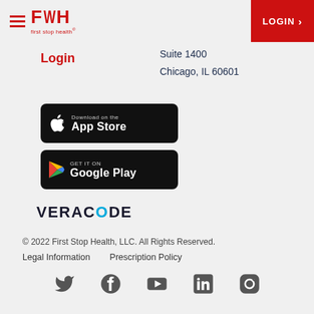First Stop Health — LOGIN
Login
Suite 1400
Chicago, IL 60601
[Figure (logo): Download on the App Store button]
[Figure (logo): Get it on Google Play button]
[Figure (logo): Veracode logo]
© 2022 First Stop Health, LLC. All Rights Reserved.
Legal Information    Prescription Policy
[Figure (infographic): Social media icons: Twitter, Facebook, YouTube, LinkedIn, Instagram]